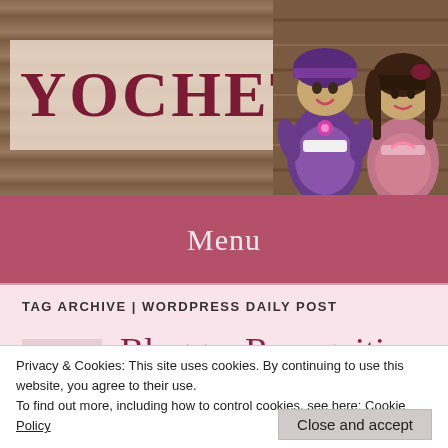YOCHET
[Figure (illustration): Two crocheted dolls, one in purple with a bonnet and one in brown with dark hair, photographed against a wooden background]
Menu
TAG ARCHIVE | WORDPRESS DAILY POST
Apr 25
Blogger Recognition Award
Privacy & Cookies: This site uses cookies. By continuing to use this website, you agree to their use.
To find out more, including how to control cookies, see here: Cookie Policy
Close and accept